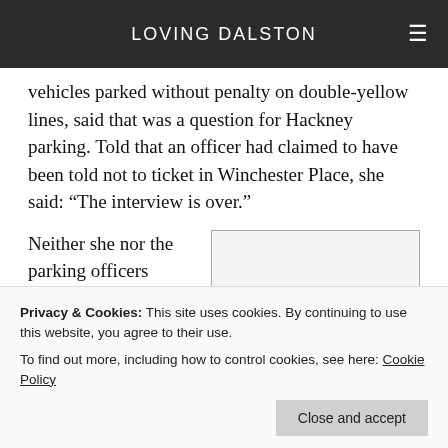LOVING DALSTON
vehicles parked without penalty on double-yellow lines, said that was a question for Hackney parking. Told that an officer had claimed to have been told not to ticket in Winchester Place, she said: “The interview is over.”
Neither she nor the parking officers
[Figure (other): Blank/placeholder image box with light grey background and border]
In Dalston Lane cars have been parking on the
Privacy & Cookies: This site uses cookies. By continuing to use this website, you agree to their use.
To find out more, including how to control cookies, see here: Cookie Policy
Close and accept